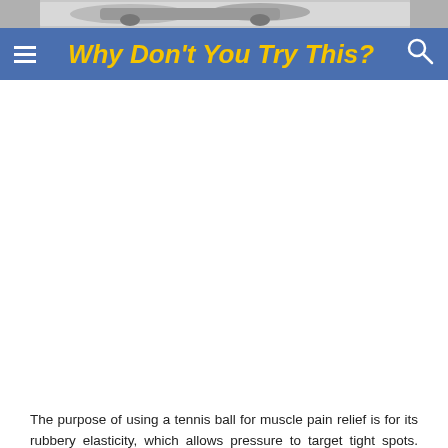[Figure (photo): Partial image strip at top of page showing a monochrome photograph, partially cropped]
Why Don't You Try This?
[Figure (other): White advertisement/content area below navigation bar]
The purpose of using a tennis ball for muscle pain relief is for its rubbery elasticity, which allows pressure to target tight spots. This article will help